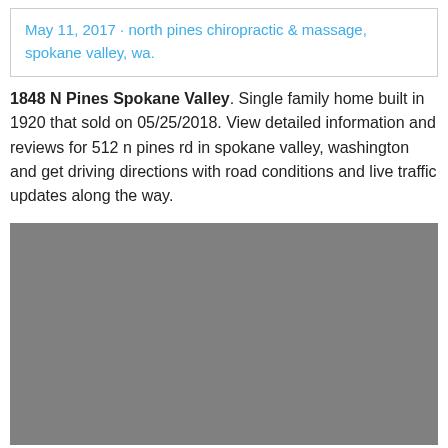May 11, 2017 · north pines chiropractic & massage, spokane valley, wa.
1848 N Pines Spokane Valley. Single family home built in 1920 that sold on 05/25/2018. View detailed information and reviews for 512 n pines rd in spokane valley, washington and get driving directions with road conditions and live traffic updates along the way.
[Figure (photo): Gray placeholder image block]